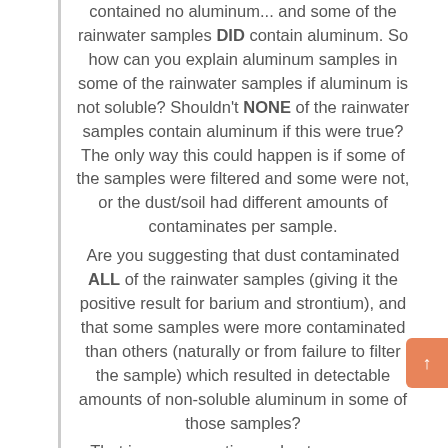contained no aluminum... and some of the rainwater samples DID contain aluminum. So how can you explain aluminum samples in some of the rainwater samples if aluminum is not soluble? Shouldn't NONE of the rainwater samples contain aluminum if this were true? The only way this could happen is if some of the samples were filtered and some were not, or the dust/soil had different amounts of contaminates per sample.
Are you suggesting that dust contaminated ALL of the rainwater samples (giving it the positive result for barium and strontium), and that some samples were more contaminated than others (naturally or from failure to filter the sample) which resulted in detectable amounts of non-soluble aluminum in some of those samples?
That is an assumption and not an answer. We are not the ones conducting the tests (although the admin of this site should be doing his own tests). Tests for sludge will always produce aluminum, barium and